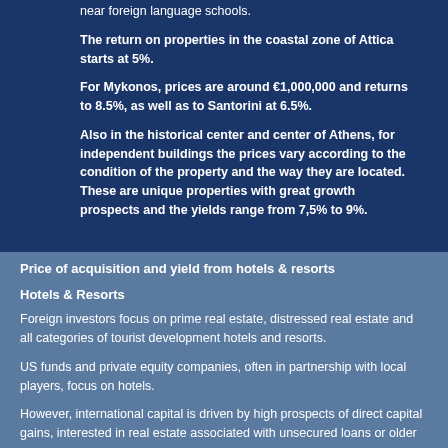near foreign language schools.
The return on properties in the coastal zone of Attica starts at 5%.
For Mykonos, prices are around €1,000,000 and returns to 8.5%, as well as to Santorini at 6.5%.
Also in the historical center and center of Athens, for independent buildings the prices vary according to the condition of the property and the way they are located. These are unique properties with great growth prospects and the yields range from 7,5% to 9%.
Price of acquisition and yield from hotels & resorts
Hotels & Resorts
Foreign investors focus on prime real estate, distressed real estate and all categories of tourist development hotels and resorts.
US funds and private equity companies, often in partnership with local players, focus on hotels.
However, international capital is driven by high prospects of direct capital gains, interested in real estate associated with unsecured loans or older...